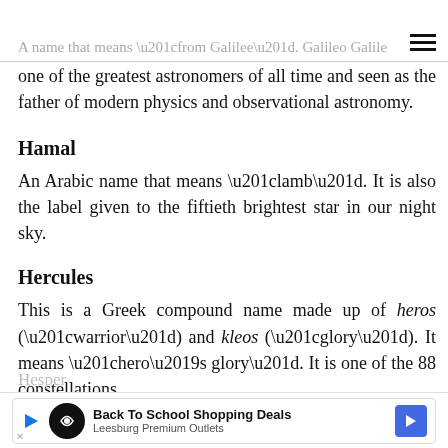A name that means “from Galilee”, Galileo Galilei was
one of the greatest astronomers of all time and seen as the father of modern physics and observational astronomy.
Hamal
An Arabic name that means “lamb”. It is also the label given to the fiftieth brightest star in our night sky.
Hercules
This is a Greek compound name made up of heros (“warrior”) and kleos (“glory”). It means “hero’s glory”. It is one of the 88 constellations.
Hespero... [advertisement: Back To School Shopping Deals - Leesburg Premium Outlets]